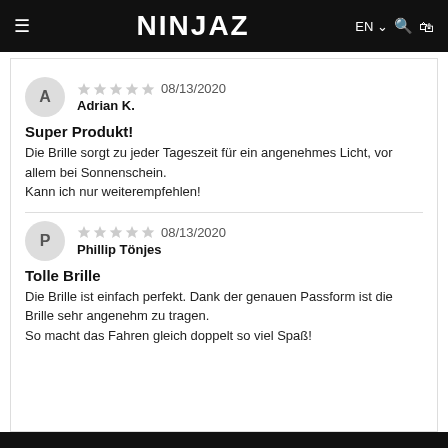NINJAZ — EN
A — 08/13/2020 — Adrian K. — Super Produkt! — Die Brille sorgt zu jeder Tageszeit für ein angenehmes Licht, vor allem bei Sonnenschein. Kann ich nur weiterempfehlen!
P — 08/13/2020 — Phillip Tönjes — Tolle Brille — Die Brille ist einfach perfekt. Dank der genauen Passform ist die Brille sehr angenehm zu tragen. So macht das Fahren gleich doppelt so viel Spaß!